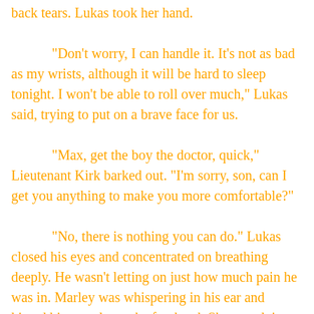back tears. Lukas took her hand.

"Don't worry, I can handle it. It's not as bad as my wrists, although it will be hard to sleep tonight. I won't be able to roll over much," Lukas said, trying to put on a brave face for us.

"Max, get the boy the doctor, quick," Lieutenant Kirk barked out. "I'm sorry, son, can I get you anything to make you more comfortable?"

"No, there is nothing you can do." Lukas closed his eyes and concentrated on breathing deeply. He wasn't letting on just how much pain he was in. Marley was whispering in his ear and kissed him gently on the forehead. She was doing a great job of keeping it together.

"Lukas," I said quietly, tears threatening to spill over